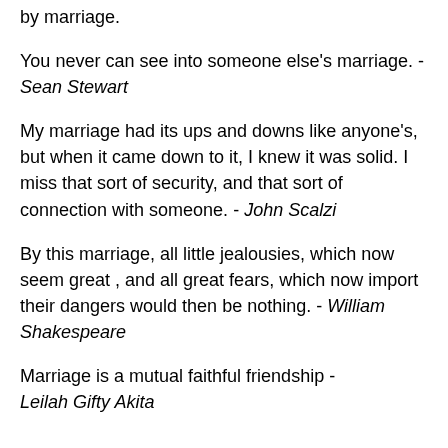by marriage.
You never can see into someone else's marriage. - Sean Stewart
My marriage had its ups and downs like anyone's, but when it came down to it, I knew it was solid. I miss that sort of security, and that sort of connection with someone. - John Scalzi
By this marriage, all little jealousies, which now seem great , and all great fears, which now import their dangers would then be nothing. - William Shakespeare
Marriage is a mutual faithful friendship - Leilah Gifty Akita